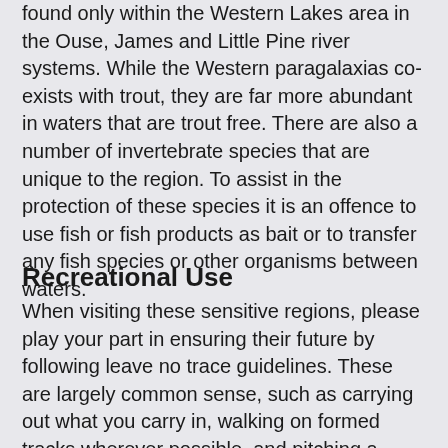found only within the Western Lakes area in the Ouse, James and Little Pine river systems. While the Western paragalaxias co-exists with trout, they are far more abundant in waters that are trout free. There are also a number of invertebrate species that are unique to the region. To assist in the protection of these species it is an offence to use fish or fish products as bait or to transfer any fish species or other organisms between waters.
Recreational Use
When visiting these sensitive regions, please play your part in ensuring their future by following leave no trace guidelines. These are largely common sense, such as carrying out what you carry in, walking on formed tracks wherever possible, and pitching a tents on established sites rather than creating a new one. The WHA is a fuel stove only area - open fires are not permitted, and in many